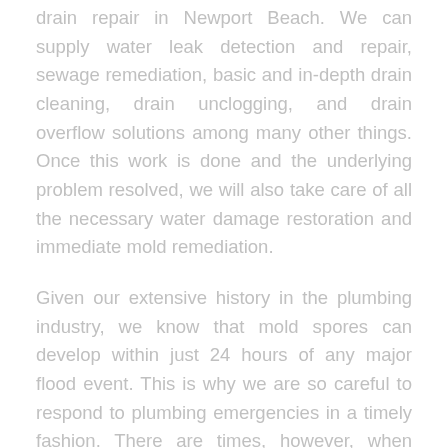drain repair in Newport Beach. We can supply water leak detection and repair, sewage remediation, basic and in-depth drain cleaning, drain unclogging, and drain overflow solutions among many other things. Once this work is done and the underlying problem resolved, we will also take care of all the necessary water damage restoration and immediate mold remediation.
Given our extensive history in the plumbing industry, we know that mold spores can develop within just 24 hours of any major flood event. This is why we are so careful to respond to plumbing emergencies in a timely fashion. There are times, however, when homeowners have persistent, pervasive and progressive issues that take a while to notice. These include pinhole leaks, slab leaks, and moderate faucet leaks. Our technicians can take care of all your water heater leaks and other issues so that you can avoid having these diminish the value